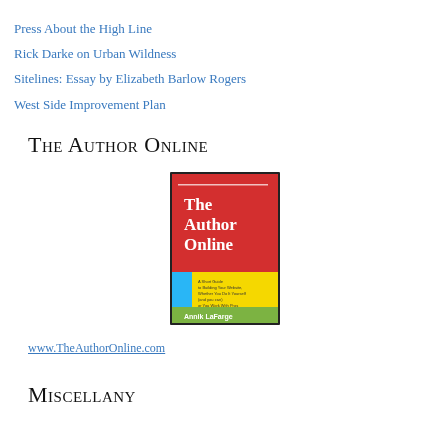Press About the High Line
Rick Darke on Urban Wildness
Sitelines: Essay by Elizabeth Barlow Rogers
West Side Improvement Plan
The Author Online
[Figure (photo): Book cover of 'The Author Online' by Annik LaFarge. Red top section with white title text, bottom section with blue, yellow, and green panels and author name.]
www.TheAuthorOnline.com
Miscellany